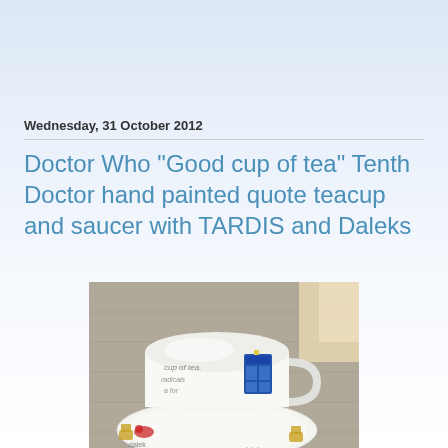Wednesday, 31 October 2012
Doctor Who "Good cup of tea" Tenth Doctor hand painted quote teacup and saucer with TARDIS and Daleks
[Figure (photo): A white hand-painted teacup and saucer on a table. The cup features a painted TARDIS (blue police box) and text reading 'cup of tea... radicals... for'. The saucer has painted Dalek figures and handwritten text around the rim. The items appear to be Doctor Who themed pottery.]